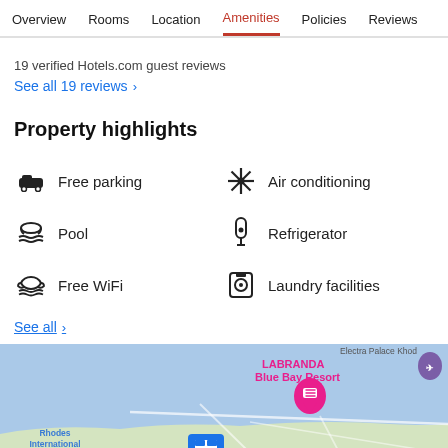Overview  Rooms  Location  Amenities  Policies  Reviews
19 verified Hotels.com guest reviews
See all 19 reviews  >
Property highlights
Free parking
Air conditioning
Pool
Refrigerator
Free WiFi
Laundry facilities
See all  >
[Figure (map): Map showing LABRANDA Blue Bay Resort near Kremasti, Rhodes International Airport Diagoras visible on left. Pink map pin for LABRANDA Blue Bay Resort, blue hotel icon in center, Kremasti label visible, Electra Palace Rhod partially visible top right.]